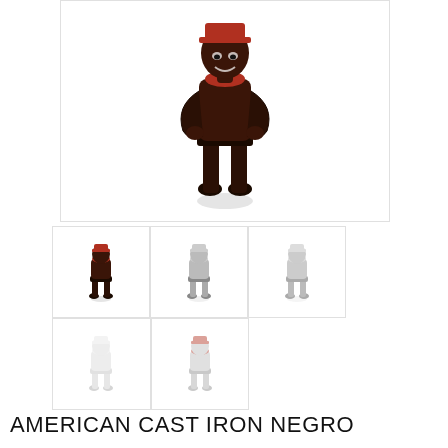[Figure (photo): Large main image of a dark cast iron figurine of a standing man with hands on hips, viewed from the front, on a white background]
[Figure (photo): Thumbnail 1: small cast iron figurine, front view, dark coloring with red accent at top]
[Figure (photo): Thumbnail 2: small cast iron figurine, slightly different angle, lighter gray tone]
[Figure (photo): Thumbnail 3: small cast iron figurine, side or three-quarter view, lighter gray tone]
[Figure (photo): Thumbnail 4: small cast iron figurine, lighter/faded view, mostly white]
[Figure (photo): Thumbnail 5: small cast iron figurine, slightly visible, red accent at top]
AMERICAN CAST IRON NEGRO